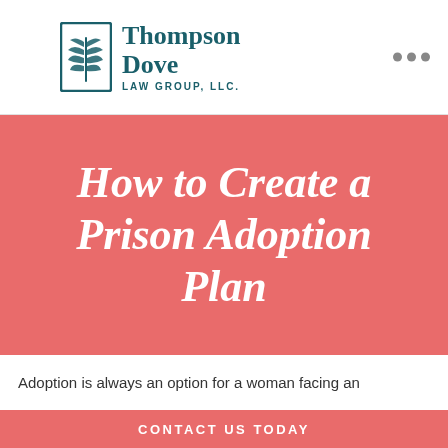[Figure (logo): Thompson Dove Law Group, LLC. logo with tree/wheat symbol in teal color]
How to Create a Prison Adoption Plan
Adoption is always an option for a woman facing an
CONTACT US TODAY